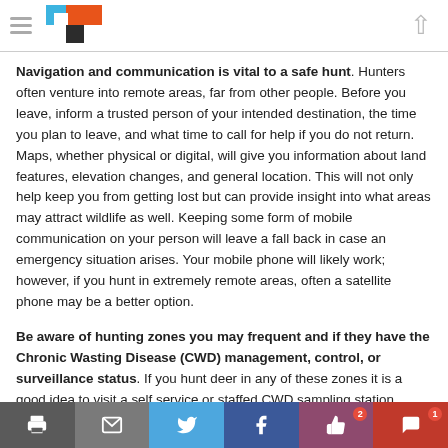[Logo and navigation header]
Navigation and communication is vital to a safe hunt. Hunters often venture into remote areas, far from other people. Before you leave, inform a trusted person of your intended destination, the time you plan to leave, and what time to call for help if you do not return. Maps, whether physical or digital, will give you information about land features, elevation changes, and general location. This will not only help keep you from getting lost but can provide insight into what areas may attract wildlife as well. Keeping some form of mobile communication on your person will leave a fall back in case an emergency situation arises. Your mobile phone will likely work; however, if you hunt in extremely remote areas, often a satellite phone may be a better option.
Be aware of hunting zones you may frequent and if they have the Chronic Wasting Disease (CWD) management, control, or surveillance status. If you hunt deer in any of these zones it is a good idea to visit a self service or staffed CWD sampling station. Hunters provide crucial data to the DNR in their study of CWD and its spread. Adhere to deer carcass movement restrictions to prevent the spread of CWD to unaffected populations of deer.
[Social share bar with print, email, Twitter, Facebook, like, and comment buttons]